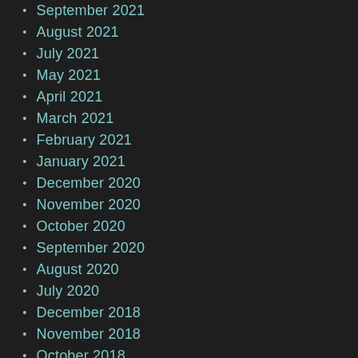September 2021
August 2021
July 2021
May 2021
April 2021
March 2021
February 2021
January 2021
December 2020
November 2020
October 2020
September 2020
August 2020
July 2020
December 2018
November 2018
October 2018